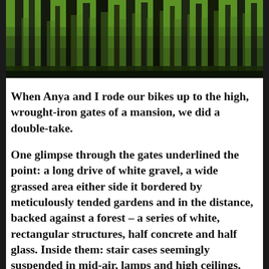[Figure (photo): A dense forest of tall tree trunks with green foliage, viewed from below, dark and lush, with vertical lines of dark bark and green canopy.]
When Anya and I rode our bikes up to the high, wrought-iron gates of a mansion, we did a double-take.
One glimpse through the gates underlined the point: a long drive of white gravel, a wide grassed area either side it bordered by meticulously tended gardens and in the distance, backed against a forest – a series of white, rectangular structures, half concrete and half glass. Inside them: stair cases seemingly suspended in mid-air, lamps and high ceilings, paintings on walls, rooms with